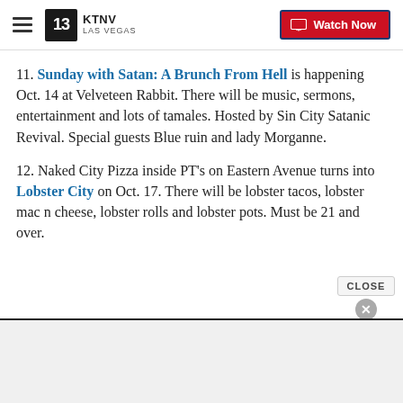KTNV LAS VEGAS — Watch Now
11. Sunday with Satan: A Brunch From Hell is happening Oct. 14 at Velveteen Rabbit. There will be music, sermons, entertainment and lots of tamales. Hosted by Sin City Satanic Revival. Special guests Blue ruin and lady Morganne.
12. Naked City Pizza inside PT's on Eastern Avenue turns into Lobster City on Oct. 17. There will be lobster tacos, lobster mac n cheese, lobster rolls and lobster pots. Must be 21 and over.
[Figure (screenshot): Advertisement banner area at bottom of page with CLOSE button overlay]